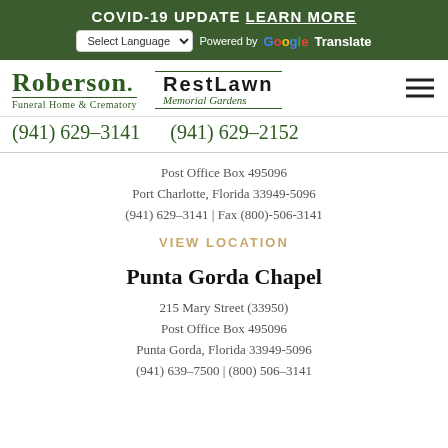COVID-19 UPDATE LEARN MORE
[Figure (logo): Roberson Funeral Home & Crematory and RestLawn Memorial Gardens logos with hamburger menu icon]
(941) 629-3141    (941) 629-2152
Post Office Box 495096
Port Charlotte, Florida 33949-5096
(941) 629-3141 | Fax (800)-506-3141
VIEW LOCATION
Punta Gorda Chapel
215 Mary Street (33950)
Post Office Box 495096
Punta Gorda, Florida 33949-5096
(941) 639-7500 | (800) 506-3141